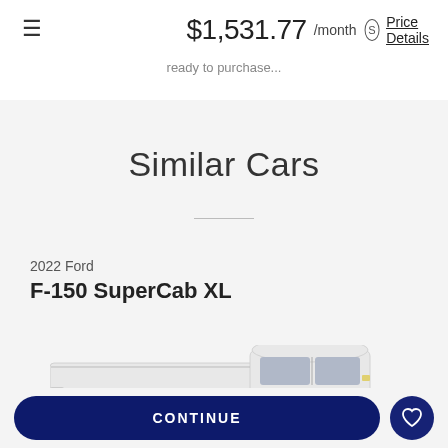$1,531.77 /month  Price Details
ready to purchase...
Similar Cars
2022 Ford
F-150 SuperCab XL
[Figure (photo): White 2022 Ford F-150 SuperCab XL pickup truck, side profile view, partially cropped at bottom of frame]
CONTINUE